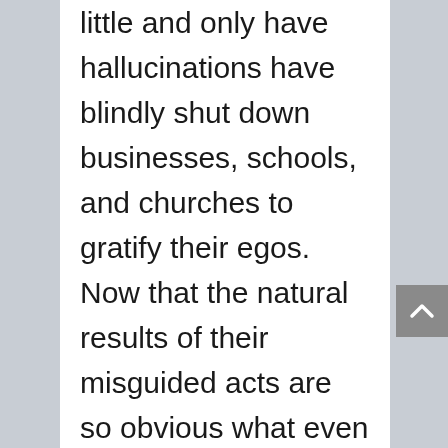little and only have hallucinations have blindly shut down businesses, schools, and churches to gratify their egos. Now that the natural results of their misguided acts are so obvious what even a Democrat can see it, they demand even more tampering with the economy; which will only make things